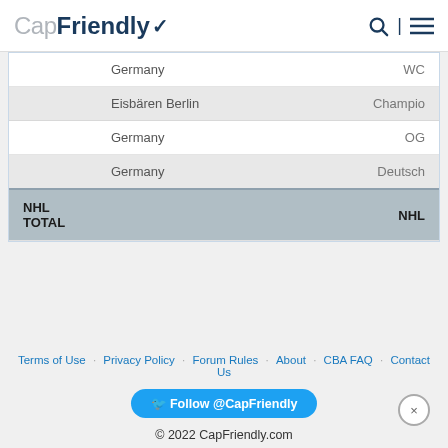CapFriendly
|  | Team | League |
| --- | --- | --- |
|  | Germany | WC |
|  | Eisbären Berlin | Champio... |
|  | Germany | OG |
|  | Germany | Deutsch... |
| NHL TOTAL |  | NHL |
Terms of Use · Privacy Policy · Forum Rules · About · CBA FAQ · Contact Us · Follow @CapFriendly · © 2022 CapFriendly.com